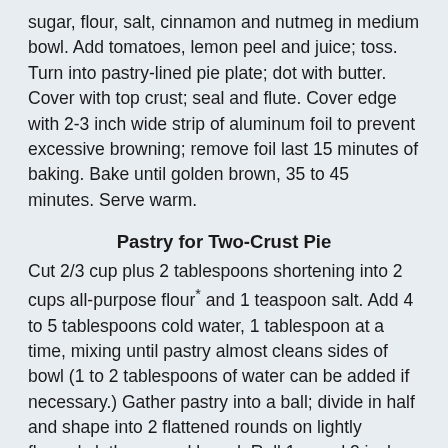sugar, flour, salt, cinnamon and nutmeg in medium bowl. Add tomatoes, lemon peel and juice; toss. Turn into pastry-lined pie plate; dot with butter. Cover with top crust; seal and flute. Cover edge with 2-3 inch wide strip of aluminum foil to prevent excessive browning; remove foil last 15 minutes of baking. Bake until golden brown, 35 to 45 minutes. Serve warm.
Pastry for Two-Crust Pie
Cut 2/3 cup plus 2 tablespoons shortening into 2 cups all-purpose flour* and 1 teaspoon salt. Add 4 to 5 tablespoons cold water, 1 tablespoon at a time, mixing until pastry almost cleans sides of bowl (1 to 2 tablespoons of water can be added if necessary.) Gather pastry into a ball; divide in half and shape into 2 flattened rounds on lightly floured cloth-covered board. Roll 1 round 2 inches larger than inverted 9-inch pie plate. Fold in quarter ans place in plate as pictured. Unfold and ease into plate. Roll second round. Fold into quarters; cut.